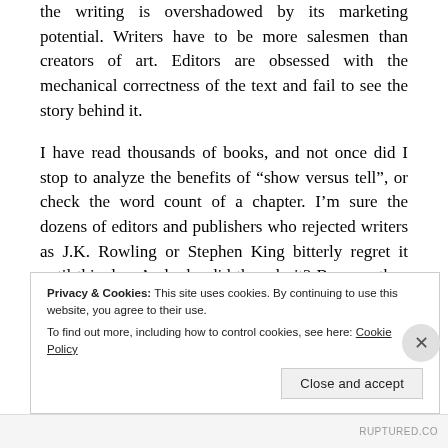the writing is overshadowed by its marketing potential. Writers have to be more salesmen than creators of art. Editors are obsessed with the mechanical correctness of the text and fail to see the story behind it.
I have read thousands of books, and not once did I stop to analyze the benefits of “show versus tell”, or check the word count of a chapter. I’m sure the dozens of editors and publishers who rejected writers as J.K. Rowling or Stephen King bitterly regret it until this day. And why did they do it? Because they didn’t see great stories, but books with a low selling potential. They were afraid to take a chance.
Privacy & Cookies: This site uses cookies. By continuing to use this website, you agree to their use.
To find out more, including how to control cookies, see here: Cookie Policy
RUPTURED.CO